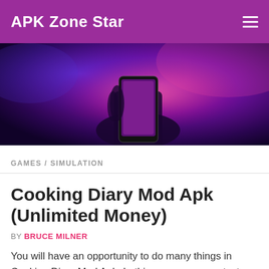APK Zone Star
[Figure (photo): Person holding a smartphone with purple/magenta neon lighting in the background]
GAMES / SIMULATION
Cooking Diary Mod Apk (Unlimited Money)
BY BRUCE MILNER
You will have an opportunity to do many things in Cooking Diary Mod Apk. In this game, you can test your multi-tasking skill and have a chance to improve. You will learn how to run an existing